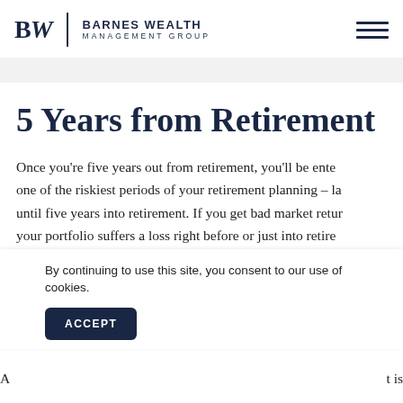BW Barnes Wealth Management Group
5 Years from Retirement
Once you're five years out from retirement, you'll be entering one of the riskiest periods of your retirement planning – last until five years into retirement. If you get bad market returns your portfolio suffers a loss right before or just into retirement, you could have to take withdrawals from that portfolio early in retirement, which could deplete your funds sooner than expected.
By continuing to use this site, you consent to our use of cookies.
ACCEPT
A ... t is